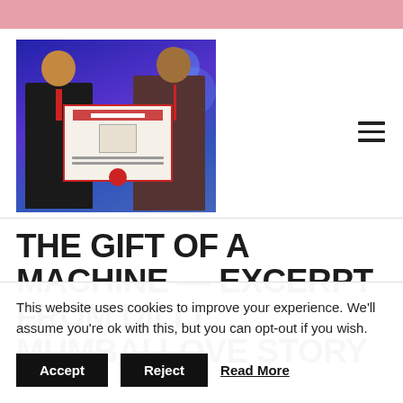[Figure (photo): Two men holding a framed certificate/award in front of a blue background at what appears to be a conference event.]
THE GIFT OF A MACHINE — EXCERPT FROM DILLI MUMBAI LOVE STORY
This website uses cookies to improve your experience. We'll assume you're ok with this, but you can opt-out if you wish.
Accept   Reject   Read More